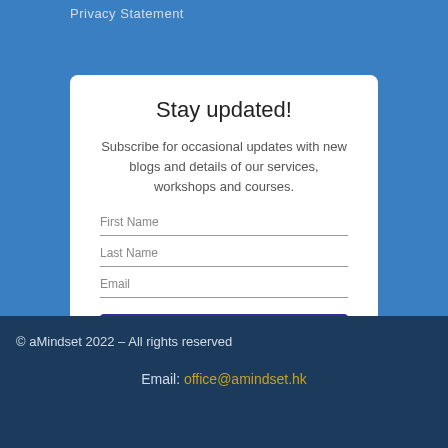Privacy Statement
Stay updated!
Subscribe for occasional updates with new blogs and details of our services, workshops and courses.
First Name
Last Name
Email
Sign me up!
© aMindset 2022 – All rights reserved
Email: office@amindset.hk